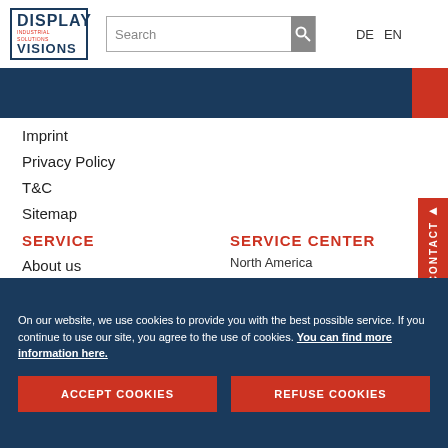[Figure (logo): Display Visions Industrial Solutions logo with blue border box]
Search  DE  EN
Imprint
Privacy Policy
T&C
Sitemap
SERVICE
SERVICE CENTER
About us
North America
651.777.7454
SHIPPING WITH
+49 (0) 8105 / 77 80 90
info(at)lcd-module.de
On our website, we use cookies to provide you with the best possible service. If you continue to use our site, you agree to the use of cookies. You can find more information here.
ACCEPT COOKIES
REFUSE COOKIES